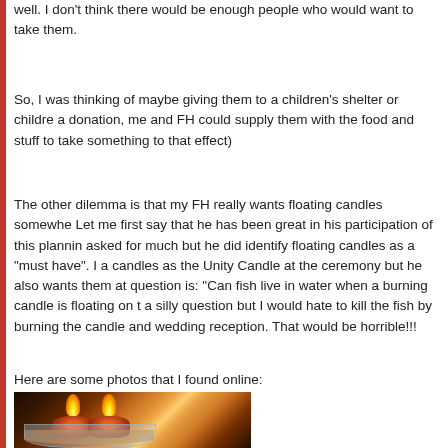well. I don't think there would be enough people who would want to take them.
So, I was thinking of maybe giving them to a children's shelter or childre a donation, me and FH could supply them with the food and stuff to take something to that effect)
The other dilemma is that my FH really wants floating candles somewhere. Let me first say that he has been great in his participation of this plannin asked for much but he did identify floating candles as a "must have". I a candles as the Unity Candle at the ceremony but he also wants them at question is: "Can fish live in water when a burning candle is floating on t a silly question but I would hate to kill the fish by burning the candle and wedding reception. That would be horrible!!!
Here are some photos that I found online:
[Figure (photo): Two red floating candles with flames in a glass bowl of water]